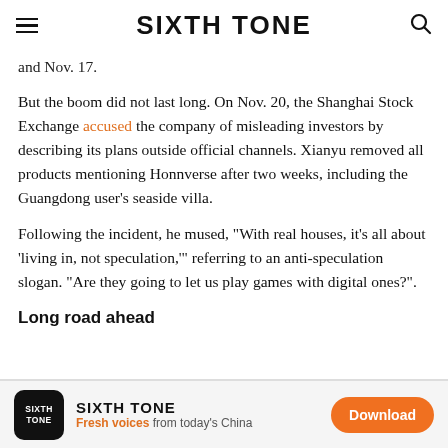SIXTH TONE
and Nov. 17.
But the boom did not last long. On Nov. 20, the Shanghai Stock Exchange accused the company of misleading investors by describing its plans outside official channels. Xianyu removed all products mentioning Honnverse after two weeks, including the Guangdong user's seaside villa.
Following the incident, he mused, “With real houses, it’s all about ‘living in, not speculation,’” referring to an anti-speculation slogan. “Are they going to let us play games with digital ones?”.
Long road ahead
SIXTH TONE Fresh voices from today’s China Download